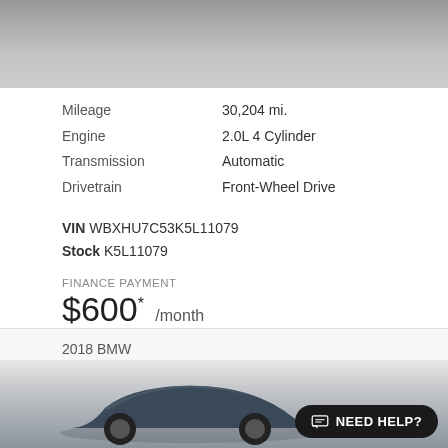[Figure (photo): Top portion of a car photo showing vehicle roof and parking lot floor tiles, partially cropped]
Mileage	30,204 mi.
Engine	2.0L 4 Cylinder
Transmission	Automatic
Drivetrain	Front-Wheel Drive
VIN WBXHU7C53K5L11079
Stock K5L11079
FINANCE PAYMENT
$600* /month
2018 BMW
X1 sDrive28i
[Figure (photo): Partial front view of a dark blue 2018 BMW X1 sDrive28i with a NEED HELP? chat button overlay]